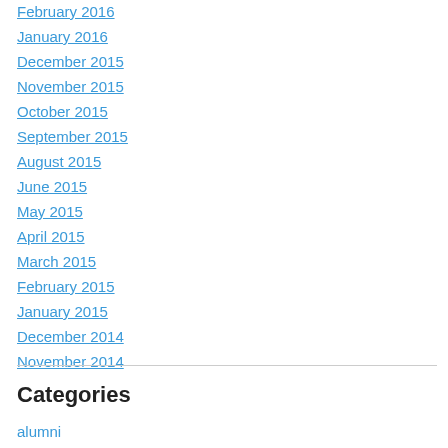February 2016
January 2016
December 2015
November 2015
October 2015
September 2015
August 2015
June 2015
May 2015
April 2015
March 2015
February 2015
January 2015
December 2014
November 2014
Categories
alumni